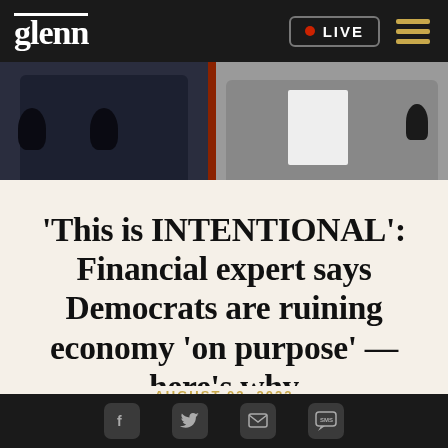glenn | LIVE
[Figure (photo): Two men in suits at podiums with microphones, official press conference setting]
'This is INTENTIONAL': Financial expert says Democrats are ruining economy 'on purpose' — here's why
AUGUST 03, 2022
Social sharing icons: Facebook, Twitter, Email, SMS